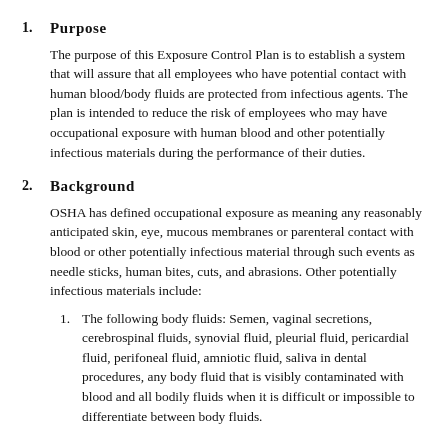1. Purpose
The purpose of this Exposure Control Plan is to establish a system that will assure that all employees who have potential contact with human blood/body fluids are protected from infectious agents. The plan is intended to reduce the risk of employees who may have occupational exposure with human blood and other potentially infectious materials during the performance of their duties.
2. Background
OSHA has defined occupational exposure as meaning any reasonably anticipated skin, eye, mucous membranes or parenteral contact with blood or other potentially infectious material through such events as needle sticks, human bites, cuts, and abrasions. Other potentially infectious materials include:
1. The following body fluids: Semen, vaginal secretions, cerebrospinal fluids, synovial fluid, pleurial fluid, pericardial fluid, perifoneal fluid, amniotic fluid, saliva in dental procedures, any body fluid that is visibly contaminated with blood and all bodily fluids when it is difficult or impossible to differentiate between body fluids.